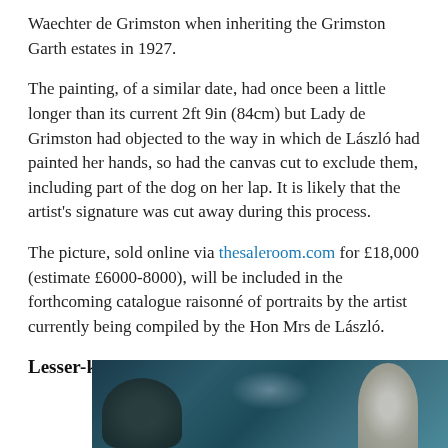Waechter de Grimston when inheriting the Grimston Garth estates in 1927.
The painting, of a similar date, had once been a little longer than its current 2ft 9in (84cm) but Lady de Grimston had objected to the way in which de László had painted her hands, so had the canvas cut to exclude them, including part of the dog on her lap. It is likely that the artist’s signature was cut away during this process.
The picture, sold online via thesaleroom.com for £18,000 (estimate £6000-8000), will be included in the forthcoming catalogue raisonné of portraits by the artist currently being compiled by the Hon Mrs de László.
Lesser-known artists
[Figure (photo): A dark atmospheric painting or photograph showing a figure in light tones against a dark blue-green background]